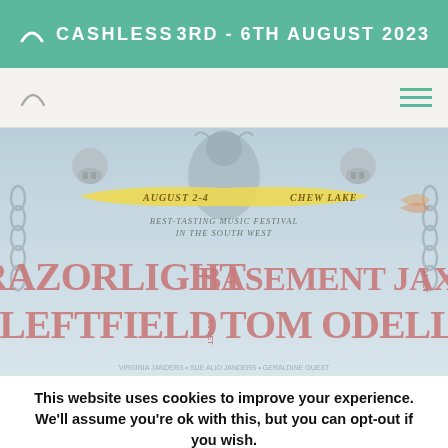CASHLESS   3RD - 6TH AUGUST 2023
[Figure (illustration): Festival poster for 'Best-Tasting Music Festival in the South West' at Chew Lake, August 2-4. Features large red/pink text: RAZORLIGHT, BASEMENT JAXX DJ SET, LEFTFIELD DJ SET, TOM ODELL. Decorative illustration with cow, skulls, chains and banners on a muted blue/grey background.]
This website uses cookies to improve your experience. We'll assume you're ok with this, but you can opt-out if you wish.
Cookie settings   Read More   ACCEPT